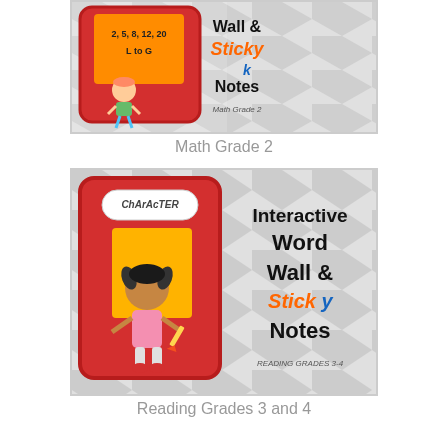[Figure (illustration): Interactive Word Wall and Sticky Notes - Math Grade 2 product cover image showing a kid with orange sticky note card displaying '2, 5, 8, 12, 20 L to G' in a red frame on grey chevron background]
Math Grade 2
[Figure (illustration): Interactive Word Wall and Sticky Notes - Reading Grades 3-4 product cover image showing a girl holding a pencil with 'CHARACTER' label card and orange sticky note in a red frame on grey chevron background]
Reading Grades 3 and 4